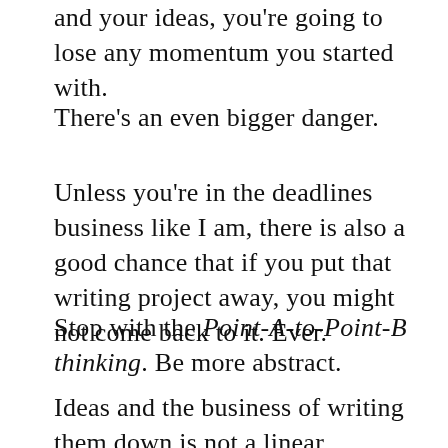and your ideas, you're going to lose any momentum you started with.
There's an even bigger danger.
Unless you're in the deadlines business like I am, there is also a good chance that if you put that writing project away, you might not come back to it. Ever.
Stop with the Point-A-to-Point-B thinking. Be more abstract.
Ideas and the business of writing them down is not a linear practice. In fact, it's